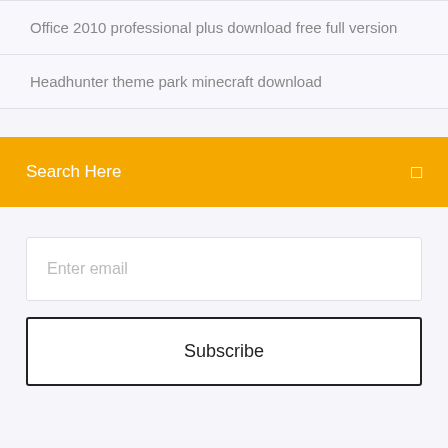Office 2010 professional plus download free full version
Headhunter theme park minecraft download
Search Here
Enter email
Subscribe